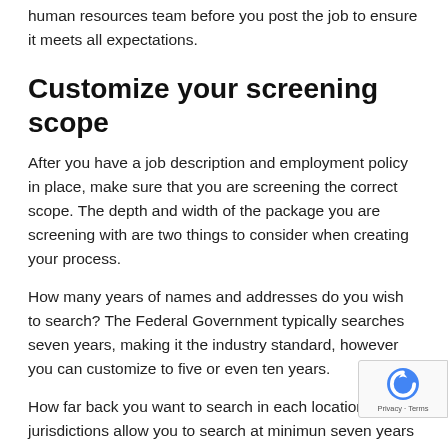human resources team before you post the job to ensure it meets all expectations.
Customize your screening scope
After you have a job description and employment policy in place, make sure that you are screening the correct scope. The depth and width of the package you are screening with are two things to consider when creating your process.
How many years of names and addresses do you wish to search? The Federal Government typically searches seven years, making it the industry standard, however you can customize to five or even ten years.
How far back you want to search in each location? Many jurisdictions allow you to search at minimum seven years from the final disposition. Other jurisdictions have information back indefinitely. Do